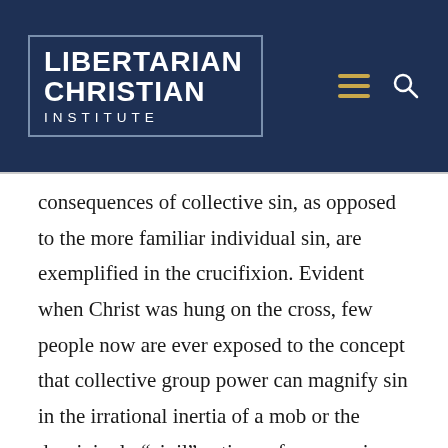[Figure (logo): Libertarian Christian Institute logo — white bold text on dark navy background with rectangular border outline, with hamburger menu icon (gold/yellow) and search icon (white) to the right]
consequences of collective sin, as opposed to the more familiar individual sin, are exemplified in the crucifixion. Evident when Christ was hung on the cross, few people now are ever exposed to the concept that collective group power can magnify sin in the irrational inertia of a mob or the deceivingly “civil” actions of a governing